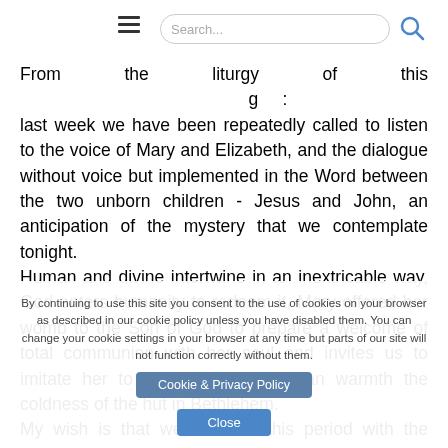[Figure (screenshot): Navigation bar with hamburger menu icon and search box]
From the liturgy of this ... last week we have been repeatedly called to listen to the voice of Mary and Elizabeth, and the dialogue without voice but implemented in the Word between the two unborn children - Jesus and John, an anticipation of the mystery that we contemplate tonight. Human and divine intertwine in an inextricable way, God enters humanity to redeem it, Mary offered her womb to the Son of God to prepare a welcome of total communion with her soul and invites us to imitate her to substitute with human warmth the coldness of the hut in Bethlehem. My wish is that we can live this period with the sentiments of Mary, with her faith, hope and charity, to firmly believe that God has also given us perhaps a small part in announcing to the world the birth of the Son of God and to convince us that He is always with us; therefore nothing of what happens can
By continuing to use this site you consent to the use of cookies on your browser as described in our cookie policy unless you have disabled them. You can change your cookie settings in your browser at any time but parts of our site will not function correctly without them.
Cookie & Privacy Policy
Close